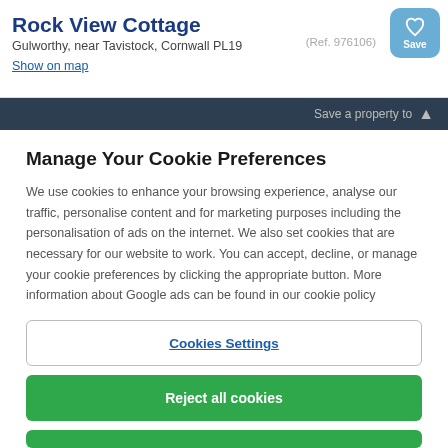Rock View Cottage
Gulworthy, near Tavistock, Cornwall PL19
Show on map
(Ref. 976106)
Save a property to
Manage Your Cookie Preferences
We use cookies to enhance your browsing experience, analyse our traffic, personalise content and for marketing purposes including the personalisation of ads on the internet. We also set cookies that are necessary for our website to work. You can accept, decline, or manage your cookie preferences by clicking the appropriate button. More information about Google ads can be found in our cookie policy
Cookies Settings
Reject all cookies